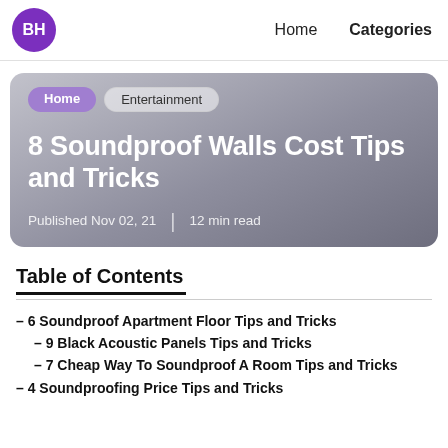BH | Home | Categories
[Figure (other): Article hero card with breadcrumb navigation (Home > Entertainment), title '8 Soundproof Walls Cost Tips and Tricks', published date Nov 02, 21, and 12 min read. Grey gradient background card with rounded corners.]
Table of Contents
– 6 Soundproof Apartment Floor Tips and Tricks
– 9 Black Acoustic Panels Tips and Tricks
– 7 Cheap Way To Soundproof A Room Tips and Tricks
– 4 Soundproofing Price Tips and Tricks